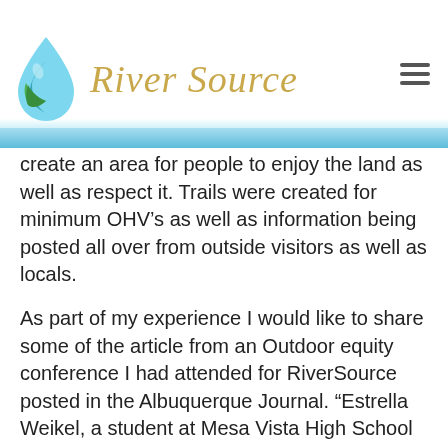River Source
create an area for people to enjoy the land as well as respect it. Trails were created for minimum OHV’s as well as information being posted all over from outside visitors as well as locals.
As part of my experience I would like to share some of the article from an Outdoor equity conference I had attended for RiverSource posted in the Albuquerque Journal. “Estrella Weikel, a student at Mesa Vista High School in Ojo Caliente, grew up gardening. To her, clean water and healthy crops at home, while her father worked in construction and sold firewood. That lifestyle,  she says, where she spent so much time outdoors with dirt under her fingernails,” helped